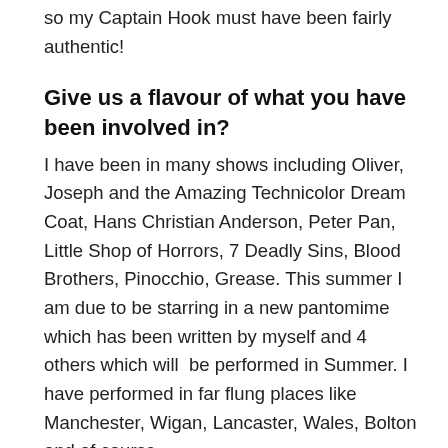so my Captain Hook must have been fairly authentic!
Give us a flavour of what you have been involved in?
I have been in many shows including Oliver, Joseph and the Amazing Technicolor Dream Coat, Hans Christian Anderson, Peter Pan, Little Shop of Horrors, 7 Deadly Sins, Blood Brothers, Pinocchio, Grease. This summer I am due to be starring in a new pantomime which has been written by myself and 4 others which will  be performed in Summer. I have performed in far flung places like Manchester, Wigan, Lancaster, Wales, Bolton and of course,